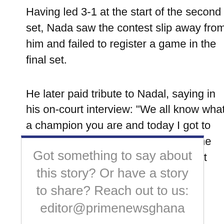Having led 3-1 at the start of the second set, Nada saw the contest slip away from him and failed to register a game in the final set.
He later paid tribute to Nadal, saying in his on-court interview: "We all know what a champion you are and today I got to feel how it is to play against you in the final. It's not easy and I'm not the first victim -- I know that there have been many before."
CNN
Got something to say about this story? Or have a story to share? Reach out to us: editor@primenewsghana